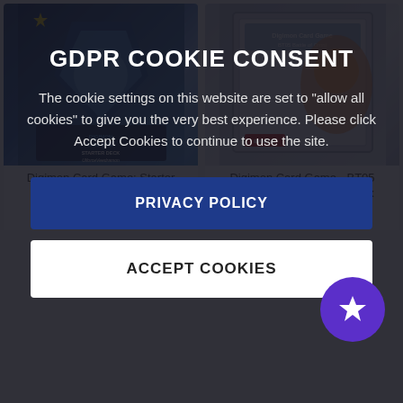[Figure (screenshot): Digimon Card Game Starter Deck Ulforce Veedramon product image with blue card game artwork]
Digimon Card Game: Starter Deck Ulforce Veedramon
[Figure (screenshot): Digimon Card Game BT05 Battle Of Omni Booster Box product image with gray box packaging]
Digimon Card Game - BT05 Battle Of Omni Booster Box
GDPR COOKIE CONSENT
The cookie settings on this website are set to "allow all cookies" to give you the very best experience. Please click Accept Cookies to continue to use the site.
PRIVACY POLICY
ACCEPT COOKIES